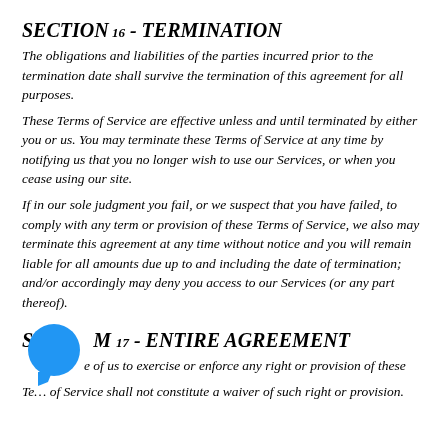SECTION 16 - TERMINATION
The obligations and liabilities of the parties incurred prior to the termination date shall survive the termination of this agreement for all purposes.
These Terms of Service are effective unless and until terminated by either you or us. You may terminate these Terms of Service at any time by notifying us that you no longer wish to use our Services, or when you cease using our site.
If in our sole judgment you fail, or we suspect that you have failed, to comply with any term or provision of these Terms of Service, we also may terminate this agreement at any time without notice and you will remain liable for all amounts due up to and including the date of termination; and/or accordingly may deny you access to our Services (or any part thereof).
SECTION 17 - ENTIRE AGREEMENT
The failure of us to exercise or enforce any right or provision of these Terms of Service shall not constitute a waiver of such right or provision.